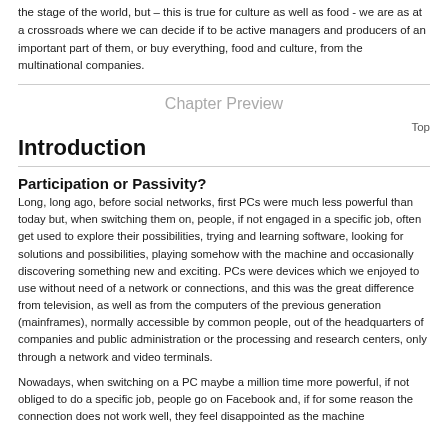the stage of the world, but – this is true for culture as well as food - we are as at a crossroads where we can decide if to be active managers and producers of an important part of them, or buy everything, food and culture, from the multinational companies.
Chapter Preview
Top
Introduction
Participation or Passivity?
Long, long ago, before social networks, first PCs were much less powerful than today but, when switching them on, people, if not engaged in a specific job, often get used to explore their possibilities, trying and learning software, looking for solutions and possibilities, playing somehow with the machine and occasionally discovering something new and exciting. PCs were devices which we enjoyed to use without need of a network or connections, and this was the great difference from television, as well as from the computers of the previous generation (mainframes), normally accessible by common people, out of the headquarters of companies and public administration or the processing and research centers, only through a network and video terminals.
Nowadays, when switching on a PC maybe a million time more powerful, if not obliged to do a specific job, people go on Facebook and, if for some reason the connection does not work well, they feel disappointed as the machine